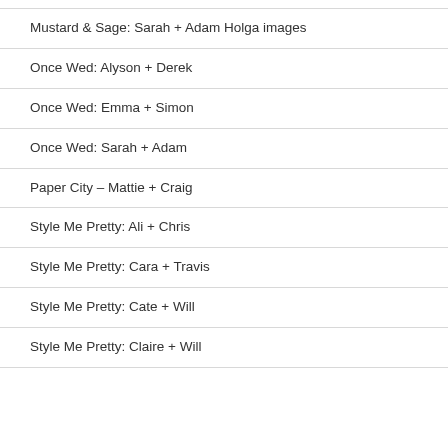Mustard & Sage: Sarah + Adam Holga images
Once Wed: Alyson + Derek
Once Wed: Emma + Simon
Once Wed: Sarah + Adam
Paper City – Mattie + Craig
Style Me Pretty: Ali + Chris
Style Me Pretty: Cara + Travis
Style Me Pretty: Cate + Will
Style Me Pretty: Claire + Will